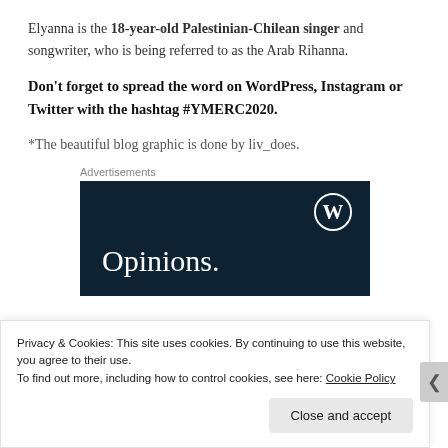Elyanna is the 18-year-old Palestinian-Chilean singer and songwriter, who is being referred to as the Arab Rihanna.
Don't forget to spread the word on WordPress, Instagram or Twitter with the hashtag #YMERC2020.
*The beautiful blog graphic is done by liv_does.
Advertisements
[Figure (other): WordPress advertisement banner with dark navy background, WordPress logo in top right, and large text 'Opinions.' at bottom left.]
Privacy & Cookies: This site uses cookies. By continuing to use this website, you agree to their use.
To find out more, including how to control cookies, see here: Cookie Policy
Close and accept